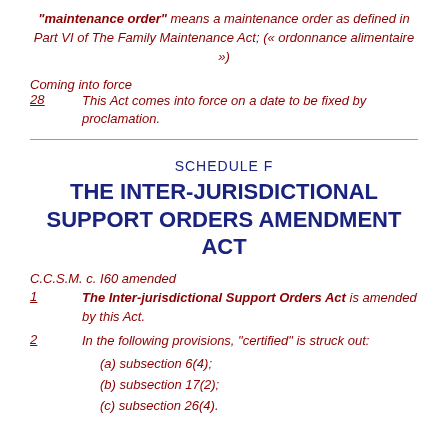"maintenance order" means a maintenance order as defined in Part VI of The Family Maintenance Act; (« ordonnance alimentaire »)
Coming into force
28   This Act comes into force on a date to be fixed by proclamation.
SCHEDULE F
THE INTER-JURISDICTIONAL SUPPORT ORDERS AMENDMENT ACT
C.C.S.M. c. I60 amended
1   The Inter-jurisdictional Support Orders Act is amended by this Act.
2   In the following provisions, "certified" is struck out:
(a) subsection 6(4);
(b) subsection 17(2);
(c) subsection 26(4).